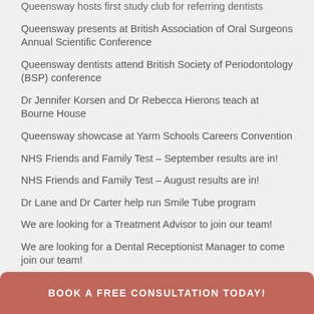Queensway hosts first study club for referring dentists
Queensway presents at British Association of Oral Surgeons Annual Scientific Conference
Queensway dentists attend British Society of Periodontology (BSP) conference
Dr Jennifer Korsen and Dr Rebecca Hierons teach at Bourne House
Queensway showcase at Yarm Schools Careers Convention
NHS Friends and Family Test – September results are in!
NHS Friends and Family Test – August results are in!
Dr Lane and Dr Carter help run Smile Tube program
We are looking for a Treatment Advisor to join our team!
We are looking for a Dental Receptionist Manager to come join our team!
Members of our team head to the SAAD Symposium to update their sedation knowledge.
Ro...
BOOK A FREE CONSULTATION TODAY!